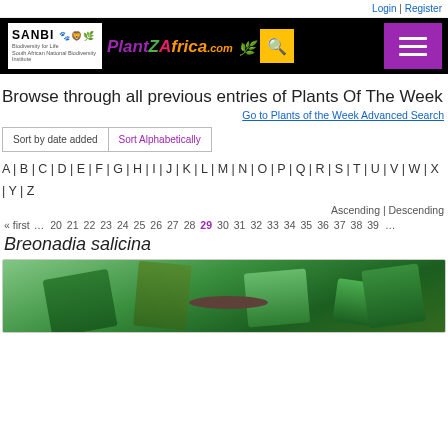Login | Register
[Figure (logo): SANBI and PlantZAfrica.com header with search and menu buttons]
Browse through all previous entries of Plants Of The Week
Go to Plants of the Week Advanced Search
Sort by date added | Sort Alphabetically
A | B | C | D | E | F | G | H | I | J | K | L | M | N | O | P | Q | R | S | T | U | V | W | X | Y | Z
Ascending | Descending
« first … 20 21 22 23 24 25 26 27 28 29 30 31 32 33 34 35 36 37 38 39 …
Breonadia salicina
[Figure (photo): Photo of Breonadia salicina plant with green leaves]